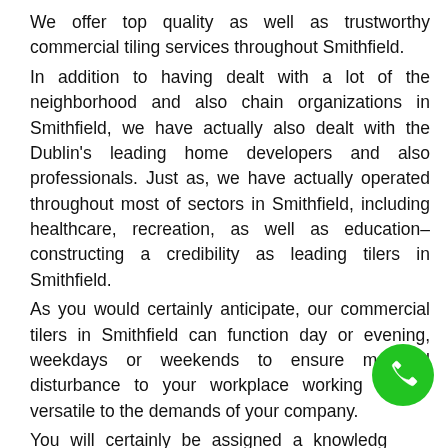We offer top quality as well as trustworthy commercial tiling services throughout Smithfield. In addition to having dealt with a lot of the neighborhood and also chain organizations in Smithfield, we have actually also dealt with the Dublin's leading home developers and also professionals. Just as, we have actually operated throughout most of sectors in Smithfield, including healthcare, recreation, as well as education– constructing a credibility as leading tilers in Smithfield. As you would certainly anticipate, our commercial tilers in Smithfield can function day or evening, weekdays or weekends to ensure marginal disturbance to your workplace working hours– versatile to the demands of your company. You will certainly be assigned a knowledgeable website and also monitoring team when we commence works, ensuring that we finish the project promptly
[Figure (other): Green circular phone call button icon in the bottom right corner]